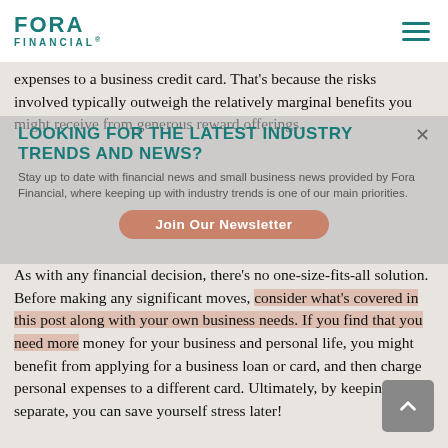FORA FINANCIAL
expenses to a business credit card. That’s because the risks involved typically outweigh the relatively marginal benefits you might receive from generous reward offerings.
[Figure (infographic): Newsletter signup overlay with headline 'looking for the latest industry trends and news?' and subtext 'Stay up to date with financial news and small business news provided by Fora Financial, where keeping up with industry trends is one of our main priorities.' with a 'Join Our Newsletter' button]
As with any financial decision, there’s no one-size-fits-all solution. Before making any significant moves, consider what’s covered in this post along with your own business needs. If you find that you need more money for your business and personal life, you might benefit from applying for a business loan or card, and then charge personal expenses to a different card. Ultimately, by keeping costs separate, you can save yourself stress later!
Editor’s Note: This post was updated for accuracy and